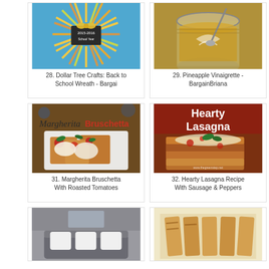[Figure (photo): Pencil wreath crafts photo - Dollar Tree back to school wreath made of pencils arranged in a sunburst pattern around a chalkboard sign]
28. Dollar Tree Crafts: Back to School Wreath - Bargai
[Figure (photo): Pineapple vinaigrette in a mason jar with a spoon]
29. Pineapple Vinaigrette - BargainBriana
[Figure (photo): Margherita Bruschetta with roasted tomatoes on a white plate with melted cheese and basil]
31. Margherita Bruschetta With Roasted Tomatoes
[Figure (photo): Hearty Lasagna Recipe with Sausage and Peppers - food photo with red banner text]
32. Hearty Lasagna Recipe With Sausage & Peppers
[Figure (photo): Gray living room or bedroom interior with sofa and white pillows]
[Figure (photo): Sliced bread or grilled food on a white plate]